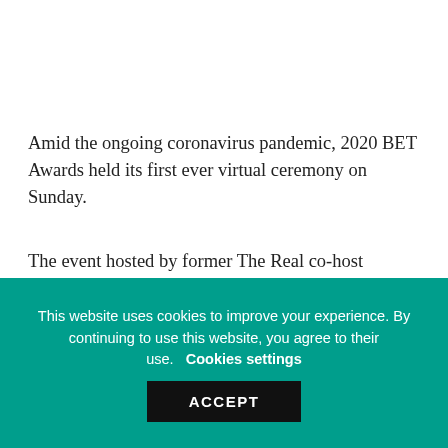Amid the ongoing coronavirus pandemic, 2020 BET Awards held its first ever virtual ceremony on Sunday.
The event hosted by former The Real co-host Amanda Seales honored Black excellence in entertainment and sports.
Lil Wayne performed a tribute in honor of NBA legend.
This website uses cookies to improve your experience. By continuing to use this website, you agree to their use. Cookies settings
ACCEPT